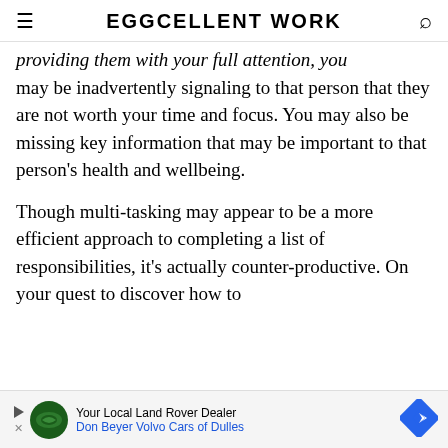EGGCELLENT WORK
providing them with your full attention, you may be inadvertently signaling to that person that they are not worth your time and focus. You may also be missing key information that may be important to that person's health and wellbeing.
Though multi-tasking may appear to be a more efficient approach to completing a list of responsibilities, it's actually counter-productive. On your quest to discover how to
[Figure (other): Advertisement banner for Your Local Land Rover Dealer - Don Beyer Volvo Cars of Dulles]